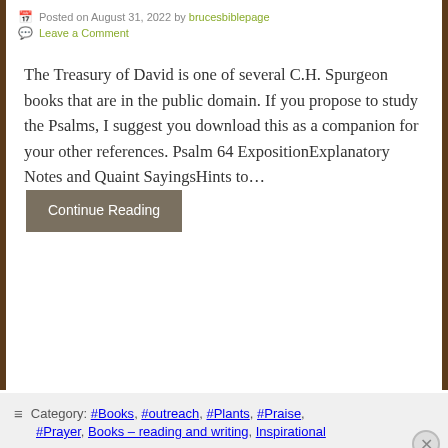Posted on August 31, 2022 by brucesbiblepage
Leave a Comment
The Treasury of David is one of several C.H. Spurgeon books that are in the public domain. If you propose to study the Psalms, I suggest you download this as a companion for your other references. Psalm 64 ExpositionExplanatory Notes and Quaint SayingsHints to… Continue Reading
Category: #Books, #outreach, #Plants, #Praise, #Prayer, Books – reading and writing, Inspirational
Advertisements